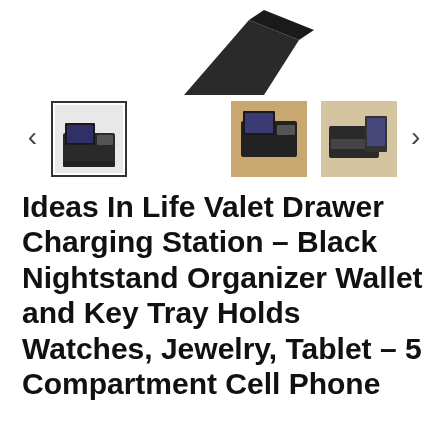[Figure (photo): Top portion of a black valet drawer charging station product, showing the angled top surface from above]
[Figure (photo): Thumbnail image carousel with navigation arrows. First thumbnail (selected with border): front view of black valet drawer charging station with tablet docked. Second thumbnail: overhead view on wood desk. Third thumbnail: side angle view with devices.]
Ideas In Life Valet Drawer Charging Station – Black Nightstand Organizer Wallet and Key Tray Holds Watches, Jewelry, Tablet – 5 Compartment Cell Phone